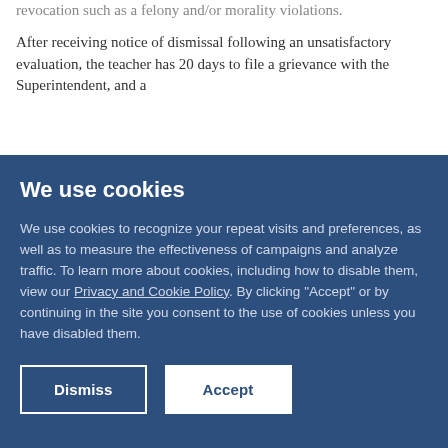revocation such as a felony and/or morality violations.

After receiving notice of dismissal following an unsatisfactory evaluation, the teacher has 20 days to file a grievance with the Superintendent, and a
We use cookies
We use cookies to recognize your repeat visits and preferences, as well as to measure the effectiveness of campaigns and analyze traffic. To learn more about cookies, including how to disable them, view our Privacy and Cookie Policy. By clicking "Accept" or by continuing in the site you consent to the use of cookies unless you have disabled them.